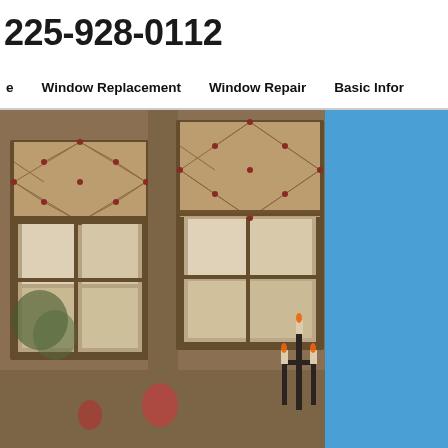225-928-0112
e   Window Replacement   Window Repair   Basic Infor
[Figure (photo): Interior room photo showing two large windows with decorative Roman shades in a diamond/lattice pattern with dark framing, bright natural light coming through the lower window panes, and a black candelabra visible on the right side. Warm brown/tan tones throughout. A blue sidebar panel appears on the right edge.]